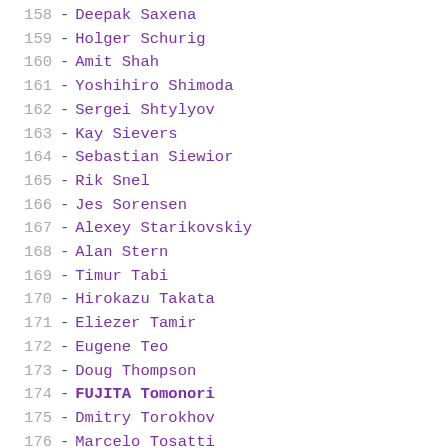158 - Deepak Saxena
159 - Holger Schurig
160 - Amit Shah
161 - Yoshihiro Shimoda
162 - Sergei Shtylyov
163 - Kay Sievers
164 - Sebastian Siewior
165 - Rik Snel
166 - Jes Sorensen
167 - Alexey Starikovskiy
168 - Alan Stern
169 - Timur Tabi
170 - Hirokazu Takata
171 - Eliezer Tamir
172 - Eugene Teo
173 - Doug Thompson
174 - FUJITA Tomonori
175 - Dmitry Torokhov
176 - Marcelo Tosatti
177 - Steven Toth
178 - Theodore Tso
179 - Matthias Urlichs